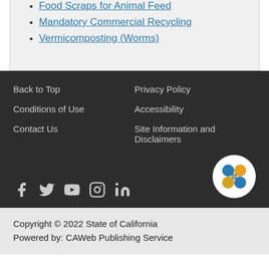Food Scraps for Animal Feed
Mandatory Commercial Recycling
Vermicomposting (Worms)
Back to Top | Privacy Policy | Conditions of Use | Accessibility | Contact Us | Site Information and Disclaimers
Copyright © 2022 State of California
Powered by: CAWeb Publishing Service